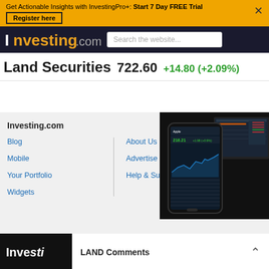Get Actionable Insights with InvestingPro+: Start 7 Day FREE Trial  Register here
[Figure (screenshot): Investing.com website navigation bar with logo and search box]
Land Securities  722.60  +14.80 (+2.09%)
[Figure (screenshot): Investing.com mobile app and desktop screenshot showing Apple stock chart]
Investing.com
Blog
Mobile
Your Portfolio
Widgets
About Us
Advertise
Help & Support
Investing.com  LAND Comments